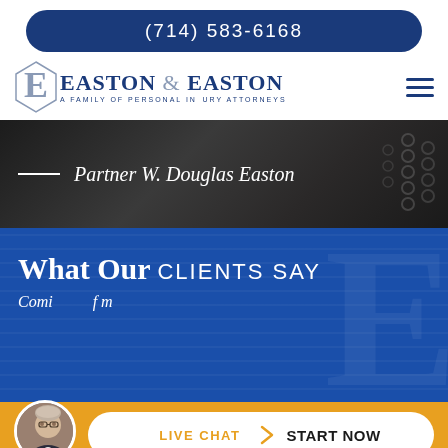(714) 583-6168
[Figure (logo): Easton & Easton law firm logo — A Family of Personal Injury Attorneys]
Partner W. Douglas Easton
What Our CLIENTS SAY
Comi... of m...
[Figure (photo): Circular portrait photo of a man in a suit, partner at the firm]
LIVE CHAT  START NOW